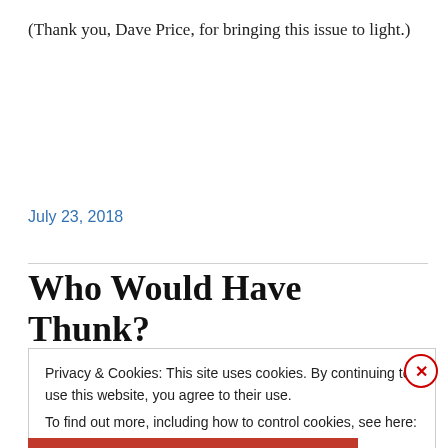(Thank you, Dave Price, for bringing this issue to light.)
July 23, 2018
Who Would Have Thunk?
Privacy & Cookies: This site uses cookies. By continuing to use this website, you agree to their use.
To find out more, including how to control cookies, see here: Cookie Policy
Close and accept